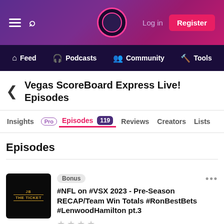Log in | Register | Feed | Podcasts | Community | Tools
Vegas ScoreBoard Express Live! Episodes
Insights Pro | Episodes 119 | Reviews | Creators | Lists
Episodes
Bonus
#NFL on #VSX 2023 - Pre-Season RECAP/Team Win Totals #RonBestBets #LenwoodHamilton pt.3